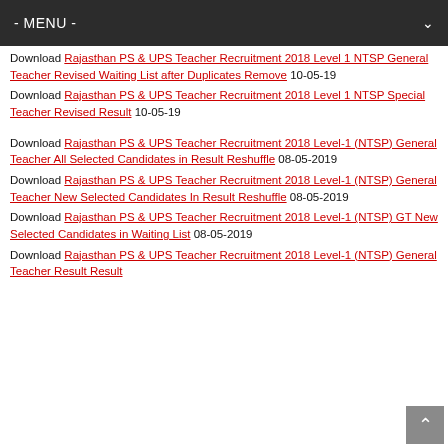- MENU -
Download Rajasthan PS & UPS Teacher Recruitment 2018 Level 1 NTSP General Teacher Revised Waiting List after Duplicates Remove 10-05-19
Download Rajasthan PS & UPS Teacher Recruitment 2018 Level 1 NTSP Special Teacher Revised Result 10-05-19
Download Rajasthan PS & UPS Teacher Recruitment 2018 Level-1 (NTSP) General Teacher All Selected Candidates in Result Reshuffle 08-05-2019
Download Rajasthan PS & UPS Teacher Recruitment 2018 Level-1 (NTSP) General Teacher New Selected Candidates In Result Reshuffle 08-05-2019
Download Rajasthan PS & UPS Teacher Recruitment 2018 Level-1 (NTSP) GT New Selected Candidates in Waiting List 08-05-2019
Download Rajasthan PS & UPS Teacher Recruitment 2018 Level-1 (NTSP) General Teacher Result Result (partial)